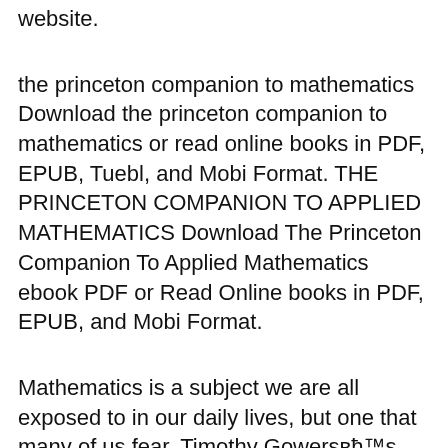website.
the princeton companion to mathematics Download the princeton companion to mathematics or read online books in PDF, EPUB, Tuebl, and Mobi Format. THE PRINCETON COMPANION TO APPLIED MATHEMATICS Download The Princeton Companion To Applied Mathematics ebook PDF or Read Online books in PDF, EPUB, and Mobi Format.
Mathematics is a subject we are all exposed to in our daily lives, but one that many of us fear. Timothy Gowersвћ™s entertaining overview of the topic explains the differences